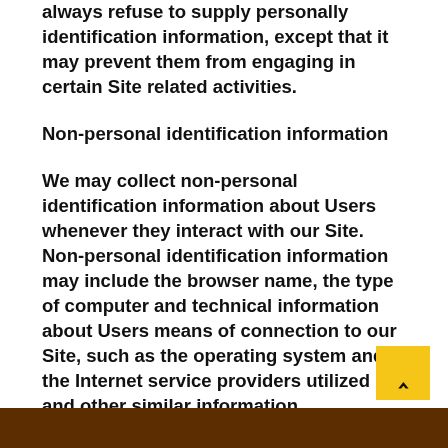always refuse to supply personally identification information, except that it may prevent them from engaging in certain Site related activities.
Non-personal identification information
We may collect non-personal identification information about Users whenever they interact with our Site. Non-personal identification information may include the browser name, the type of computer and technical information about Users means of connection to our Site, such as the operating system and the Internet service providers utilized and other similar information.
Web browser cookies
Our Site may use “cookies” to enhance User